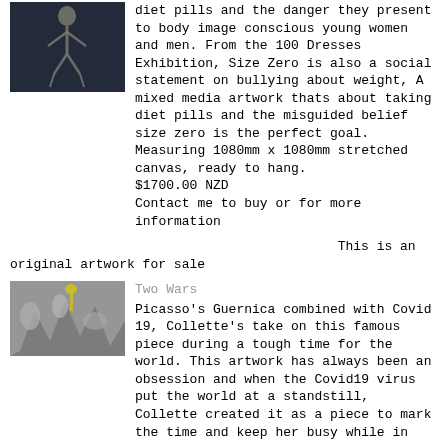[Figure (photo): Skeleton figure artwork photo, dark background]
diet pills and the danger they present to body image conscious young women and men. From the 100 Dresses Exhibition, Size Zero is also a social statement on bullying about weight, A mixed media artwork thats about taking diet pills and the misguided belief size zero is the perfect goal. Measuring 1080mm x 1080mm stretched canvas, ready to hang.
$1700.00 NZD
Contact me to buy or for more information
This is an original artwork for sale
[Figure (photo): Artwork based on Picasso's Guernica combined with Covid 19 imagery]
Two Wars
Picasso's Guernica combined with Covid 19, Collette's take on this famous piece during a tough time for the world. This artwork has always been an obsession and when the Covid19 virus put the world at a standstill, Collette created it as a piece to mark the time and keep her busy while in